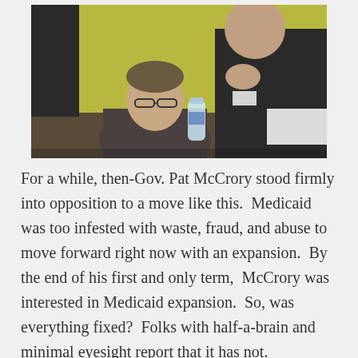[Figure (photo): Two men in suits at a conference table. One man (then-Gov. Pat McCrory) is seated and looking up, the other man is leaning in closely. There is a water bottle on the table and a yellow-green wall in the background.]
For a while, then-Gov. Pat McCrory stood firmly into opposition to a move like this.  Medicaid was too infested with waste, fraud, and abuse to move forward right now with an expansion.  By the end of his first and only term,  McCrory was interested in Medicaid expansion.  So, was everything fixed?  Folks with half-a-brain and minimal eyesight report that it has not.